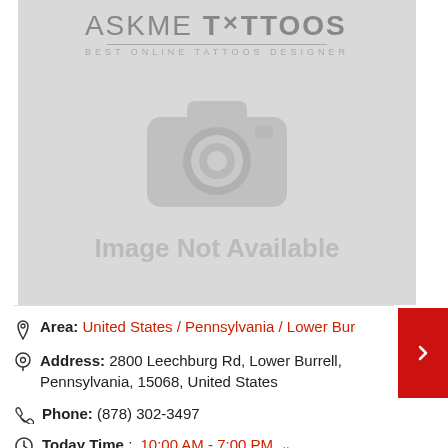[Figure (logo): AskMeTattoos logo with scissors icon and subtitle 'BEST ONLINE TATTOOS DESIGNER' on a grey placeholder background with camera icon and 'Image Not Available' text]
Area: United States / Pennsylvania / Lower Bur
Address: 2800 Leechburg Rd, Lower Burrell, Pennsylvania, 15068, United States
Phone: (878) 302-3497
Today Time : 10:00 AM - 7:00 PM